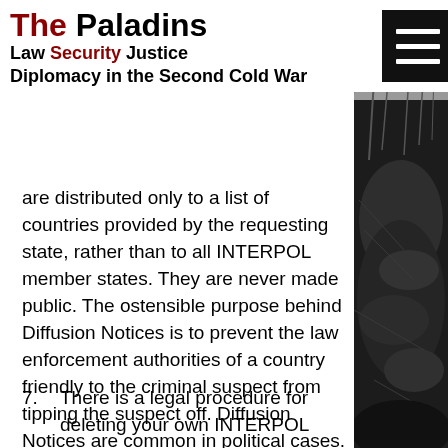The Paladins
Law Security Justice
Diplomacy in the Second Cold War
are distributed only to a list of countries provided by the requesting state, rather than to all INTERPOL member states. They are never made public. The ostensible purpose behind Diffusion Notices is to prevent the law enforcement authorities of a country friendly to the criminal suspect from tipping the suspect off. Diffusion Notices are common in political cases.
7. There is a legal procedure for deleting your own INTERPOL